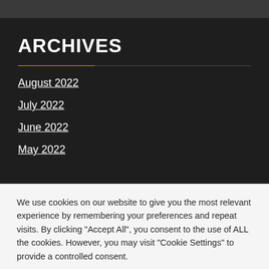ARCHIVES
August 2022
July 2022
June 2022
May 2022
We use cookies on our website to give you the most relevant experience by remembering your preferences and repeat visits. By clicking "Accept All", you consent to the use of ALL the cookies. However, you may visit "Cookie Settings" to provide a controlled consent.
Cookie Settings
Accept All